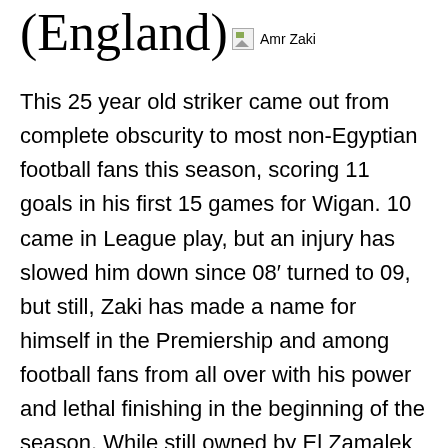(England)
[Figure (photo): Broken image placeholder labeled 'Amr Zaki']
This 25 year old striker came out from complete obscurity to most non-Egyptian football fans this season, scoring 11 goals in his first 15 games for Wigan. 10 came in League play, but an injury has slowed him down since 08′ turned to 09, but still, Zaki has made a name for himself in the Premiership and among football fans from all over with his power and lethal finishing in the beginning of the season. While still owned by El Zamalek of Egypt, be sure that Steve Bruce will open his check book to keep Zaki at the JJB stadium.